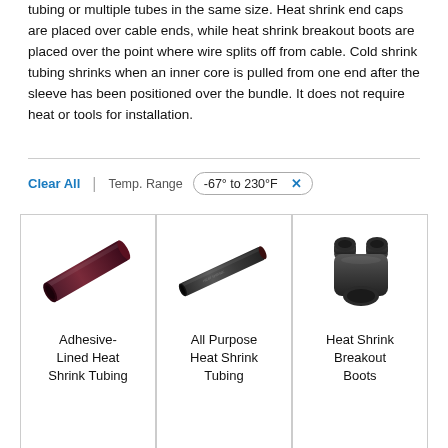tubing or multiple tubes in the same size. Heat shrink end caps are placed over cable ends, while heat shrink breakout boots are placed over the point where wire splits off from cable. Cold shrink tubing shrinks when an inner core is pulled from one end after the sleeve has been positioned over the bundle. It does not require heat or tools for installation.
[Figure (infographic): Filter bar showing 'Clear All' link, 'Temp. Range' label, and a filter badge reading '-67° to 230°F' with an X button]
[Figure (photo): Product grid row 1: Adhesive-Lined Heat Shrink Tubing (dark red tube), All Purpose Heat Shrink Tubing (dark narrow tube), Heat Shrink Breakout Boots (black Y-shaped boot)]
[Figure (photo): Product grid row 2 (partial): a silver/grey rectangular product partially visible at bottom]